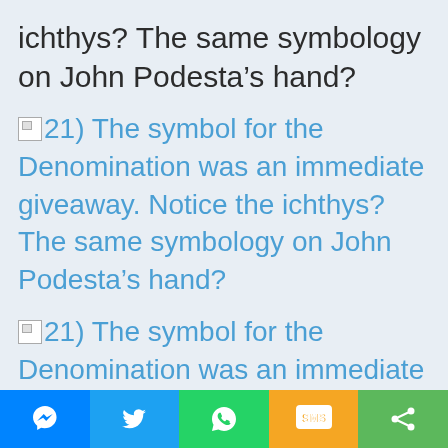ichthys? The same symbology on John Podesta’s hand?
21) The symbol for the Denomination was an immediate giveaway. Notice the ichthys? The same symbology on John Podesta’s hand?
21) The symbol for the Denomination was an immediate giveaway. Notice the ichthys? The same symbology on John Podesta’s hand?
[Figure (other): Social sharing bar with Messenger, Twitter, WhatsApp, SMS, and Share buttons]